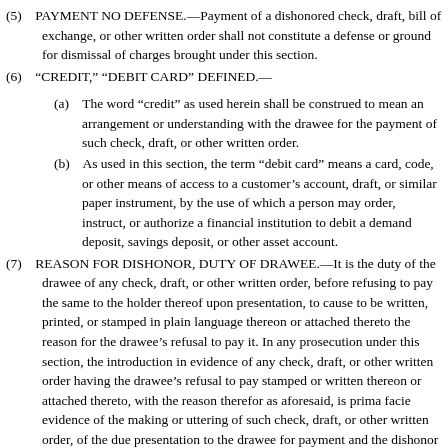(5)   PAYMENT NO DEFENSE.—Payment of a dishonored check, draft, bill of exchange, or other written order shall not constitute a defense or ground for dismissal of charges brought under this section.
(6)   "CREDIT," "DEBIT CARD" DEFINED.—
(a)   The word "credit" as used herein shall be construed to mean an arrangement or understanding with the drawee for the payment of such check, draft, or other written order.
(b)   As used in this section, the term "debit card" means a card, code, or other means of access to a customer's account, draft, or similar paper instrument, by the use of which a person may order, instruct, or authorize a financial institution to debit a demand deposit, savings deposit, or other asset account.
(7)   REASON FOR DISHONOR, DUTY OF DRAWEE.—It is the duty of the drawee of any check, draft, or other written order, before refusing to pay the same to the holder thereof upon presentation, to cause to be written, printed, or stamped in plain language thereon or attached thereto the reason for the drawee's refusal to pay it. In any prosecution under this section, the introduction in evidence of any check, draft, or other written order having the drawee's refusal to pay stamped or written thereon or attached thereto, with the reason therefor as aforesaid, is prima facie evidence of the making or uttering of such check, draft, or other written order, of the due presentation to the drawee for payment and the dishonor thereof, and that the same was properly dishonored for the reasons written, stamped, or attached by the drawee on such check, draft, or other written order. As against the maker or drawer thereof, the withdrawal of funds from the drawee named in the check, draft, or other written order of the funds on deposit with the drawee necessary to ensure payment of such check, draft, or other written order upon presentation within a reasonable time after negotiation or the drawing, making, uttering, or delivering of a check, draft, or written order, which check, draft, or written order is refused by the drawee, is prima facie evidence of knowledge of insufficient funds in or credit with such drawee. However, if it is determined at the trial in a prosecution hereunder that the payee or holder of any check, draft, or written order, at the time of accepting such check, draft, or written order, had knowledge that the drawer of such check, draft, or other written order did not have sufficient funds